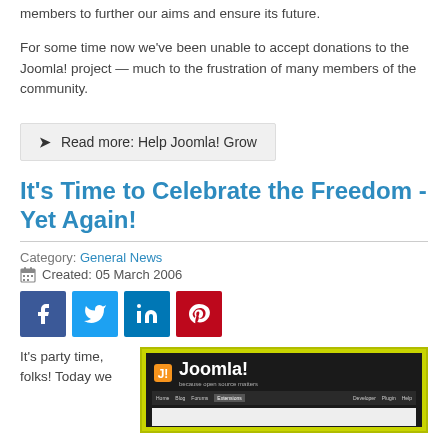members to further our aims and ensure its future.
For some time now we've been unable to accept donations to the Joomla! project — much to the frustration of many members of the community.
Read more: Help Joomla! Grow
It's Time to Celebrate the Freedom - Yet Again!
Category: General News
Created: 05 March 2006
[Figure (other): Social share buttons: Facebook, Twitter, LinkedIn, Pinterest]
It's party time, folks! Today we
[Figure (screenshot): Screenshot of the Joomla! website with logo and navigation bar on dark background with yellow/green border]